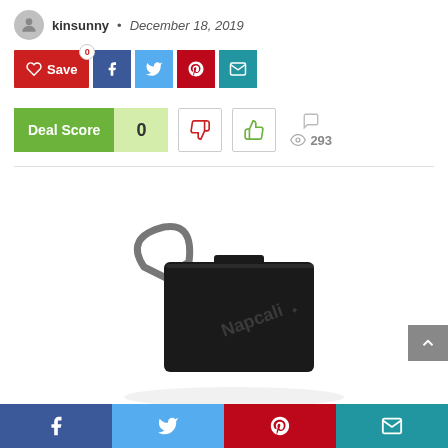kinsunny • December 18, 2019
[Figure (screenshot): Social share buttons: Save (red), Facebook (dark blue), Twitter (light blue), Pinterest (red), Email (teal)]
[Figure (infographic): Deal Score widget showing score of 0, with thumbs-down and thumbs-up vote buttons, comment icon, and 293 views]
[Figure (photo): Product photo of a black electronic device (Napcali brand) with a metal carabiner clip]
Bottom social share bar: Facebook, Twitter, Pinterest, Email